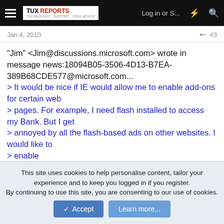TUX REPORTS | Log in or S... | [lightning] | [search]
Jan 4, 2010  #3
"Jim" <Jim@discussions.microsoft.com> wrote in message news:18094B05-3506-4D13-B7EA-389B68CDE577@microsoft.com...
> It would be nice if IE would allow me to enable add-ons for certain web
> pages. For example, I need flash installed to access my Bank. But I get
> annoyed by all the flash-based ads on other websites. I would like to
> enable
> flash for my Bank & youtube only.
>
This site uses cookies to help personalise content, tailor your experience and to keep you logged in if you register.
By continuing to use this site, you are consenting to our use of cookies.